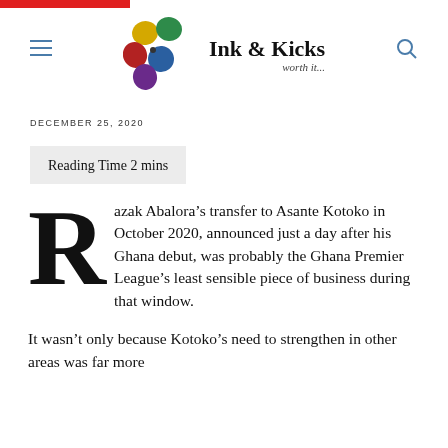[Figure (logo): Ink & Kicks logo with colorful pebble/blob shapes in yellow, green, red, blue, purple arranged in a flower pattern, with text 'Ink & Kicks' and tagline 'worth it...']
DECEMBER 25, 2020
Reading Time 2 mins
Razak Abalora's transfer to Asante Kotoko in October 2020, announced just a day after his Ghana debut, was probably the Ghana Premier League's least sensible piece of business during that window.
It wasn't only because Kotoko's need to strengthen in other areas was far more